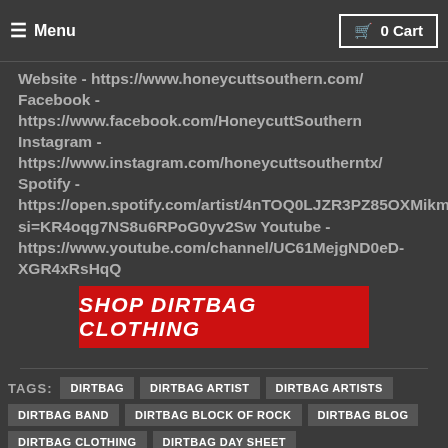≡ Menu   🛒 0 Cart
Website - https://www.honeycuttsouthern.com/ Facebook - https://www.facebook.com/HoneycuttSouthern Instagram - https://www.instagram.com/honeycuttsoutherntx/ Spotify - https://open.spotify.com/artist/4nTOQ0LJZR3PZ85OXMikm4?si=KR4oqg7NS8u6RPoG0yv2Sw Youtube - https://www.youtube.com/channel/UC61MejgND0eD-XGR4xRsHqQ
[Figure (other): Red button with white text reading SHOP DIRTBAG CLOTHING]
TAGS: DIRTBAG  DIRTBAG ARTIST  DIRTBAG ARTISTS  DIRTBAG BAND  DIRTBAG BLOCK OF ROCK  DIRTBAG BLOG  DIRTBAG CLOTHING  DIRTBAG DAY SHEET  DIRTBAG DAYSHEET  DIRTBAGS  HARD ROCK  HEAVY METAL  HONEYCUTT SOUTHERN